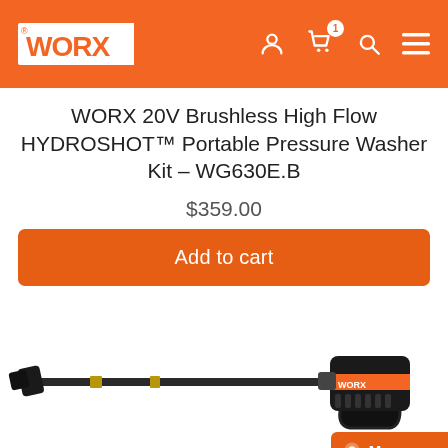WORX – navigation header with logo, user, cart (1 item), search, and menu icons
WORX 20V Brushless High Flow HYDROSHOT™ Portable Pressure Washer Kit – WG630E.B
$359.00
Add to cart
[Figure (photo): Partial view of WORX HYDROSHOT portable pressure washer gun with long wand, angled nozzle on left, grip body with WORX branding on right, on white background]
Message